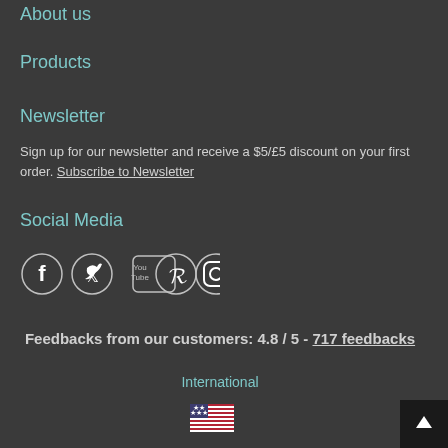About us
Products
Newsletter
Sign up for our newsletter and receive a $5/£5 discount on your first order. Subscribe to Newsletter
Social Media
[Figure (other): Social media icons: Facebook, Twitter, YouTube, Pinterest, Instagram]
Feedbacks from our customers: 4.8 / 5 - 717 feedbacks
International
[Figure (other): US flag emoji]